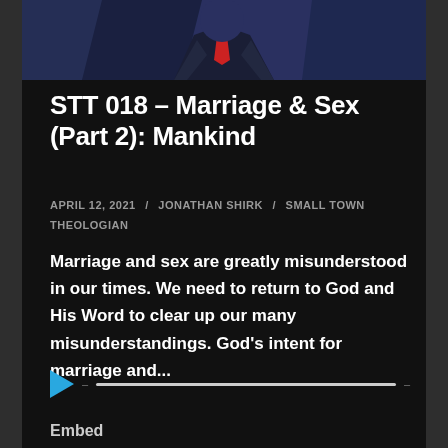[Figure (illustration): Podcast episode thumbnail showing a stylized geometric illustration of a person in a suit with a red tie, dark blue and grey polygon shapes forming the background and figure.]
STT 018 – Marriage & Sex (Part 2): Mankind
APRIL 12, 2021 / JONATHAN SHIRK / SMALL TOWN THEOLOGIAN
Marriage and sex are greatly misunderstood in our times. We need to return to God and His Word to clear up our many misunderstandings. God's intent for marriage and...
[Figure (other): Audio player UI with a blue triangle play button, a dash, a white horizontal progress bar, and a dash at the end.]
Embed